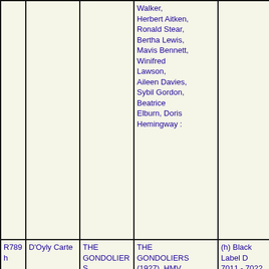|  |  |  |  |  |
| --- | --- | --- | --- | --- |
|  |  |  | Walker, Herbert Aitken, Ronald Stear, Bertha Lewis, Mavis Bennett, Winifred Lawson, Aileen Davies, Sybil Gordon, Beatrice Elburn, Doris Hemingway : |  |
| R789h | D'Oyly Carte | THE GONDOLIERS | THE GONDOLIERS (1927). HMV Album Series No.48. Electrically Recorded under the personal supervision of Rupert D'Oyly Carte. Black label D 1334 - 1345 (complete set on 12 records). With D'Oyly Carte Si... | (h) Black Label D 7011 - 7022 (automatic couplings) in Album Box No.48 |